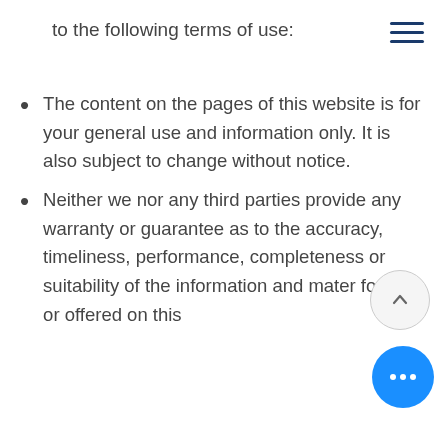to the following terms of use:
The content on the pages of this website is for your general use and information only. It is also subject to change without notice.
Neither we nor any third parties provide any warranty or guarantee as to the accuracy, timeliness, performance, completeness or suitability of the information and mater found or offered on this